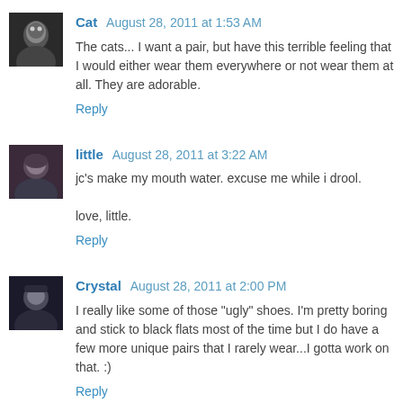Cat  August 28, 2011 at 1:53 AM
The cats... I want a pair, but have this terrible feeling that I would either wear them everywhere or not wear them at all. They are adorable.
Reply
little  August 28, 2011 at 3:22 AM
jc's make my mouth water. excuse me while i drool.
love, little.
Reply
Crystal  August 28, 2011 at 2:00 PM
I really like some of those "ugly" shoes. I'm pretty boring and stick to black flats most of the time but I do have a few more unique pairs that I rarely wear...I gotta work on that. :)
Reply